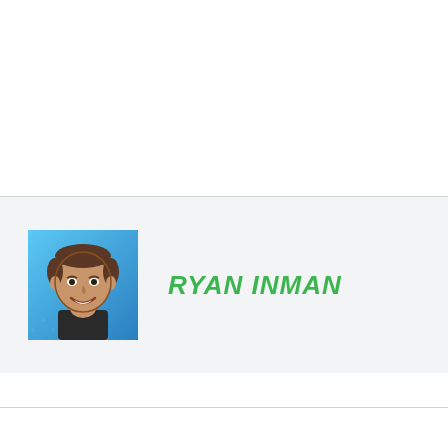[Figure (illustration): Comic-style cartoon avatar of Ryan Inman: a smiling man with brown hair wearing a dark shirt, against a blue gradient background.]
RYAN INMAN